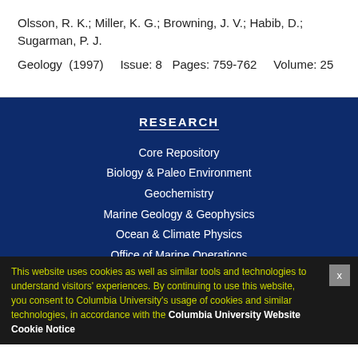Olsson, R. K.; Miller, K. G.; Browning, J. V.; Habib, D.; Sugarman, P. J.
Geology (1997)    Issue: 8  Pages: 759-762    Volume: 25
RESEARCH
Core Repository
Biology & Paleo Environment
Geochemistry
Marine Geology & Geophysics
Ocean & Climate Physics
Office of Marine Operations
Seismology, Geology, & Tectonophysics
Publications Database
Publications Procedures
Media Inquiries
This website uses cookies as well as similar tools and technologies to understand visitors' experiences. By continuing to use this website, you consent to Columbia University's usage of cookies and similar technologies, in accordance with the Columbia University Website Cookie Notice